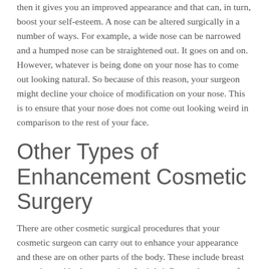then it gives you an improved appearance and that can, in turn, boost your self-esteem. A nose can be altered surgically in a number of ways. For example, a wide nose can be narrowed and a humped nose can be straightened out. It goes on and on. However, whatever is being done on your nose has to come out looking natural. So because of this reason, your surgeon might decline your choice of modification on your nose. This is to ensure that your nose does not come out looking weird in comparison to the rest of your face.
Other Types of Enhancement Cosmetic Surgery
There are other cosmetic surgical procedures that your cosmetic surgeon can carry out to enhance your appearance and these are on other parts of the body. These include breast surgeries and body contouring. Let’s briefly touch on one of them.
Breast Surgery